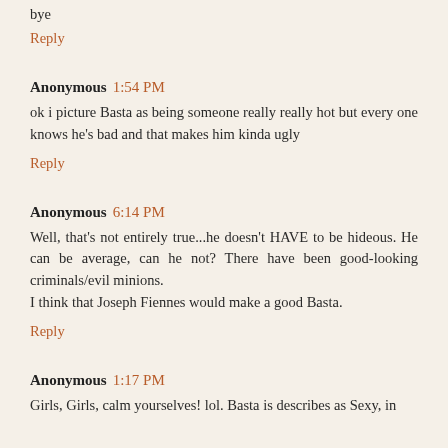bye
Reply
Anonymous 1:54 PM
ok i picture Basta as being someone really really hot but every one knows he's bad and that makes him kinda ugly
Reply
Anonymous 6:14 PM
Well, that's not entirely true...he doesn't HAVE to be hideous. He can be average, can he not? There have been good-looking criminals/evil minions.
I think that Joseph Fiennes would make a good Basta.
Reply
Anonymous 1:17 PM
Girls, Girls, calm yourselves! lol. Basta is describes as Sexy, in